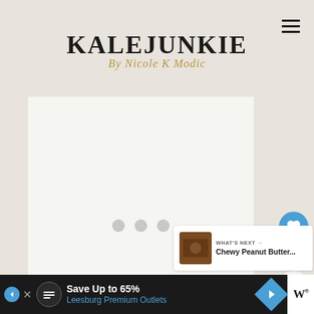KALEJUNKIE By Nicole K Modic
[Figure (photo): Loading image placeholder with three grey dots centered in a white/light grey rectangle]
[Figure (illustration): Social sidebar with heart button (blue circle, 3 likes count), share button (white circle)]
[Figure (screenshot): What's Next panel showing thumbnail of Chewy Peanut Butter recipe]
[Figure (other): Advertisement banner for Leesburg Premium Outlets - Save Up to 65%]